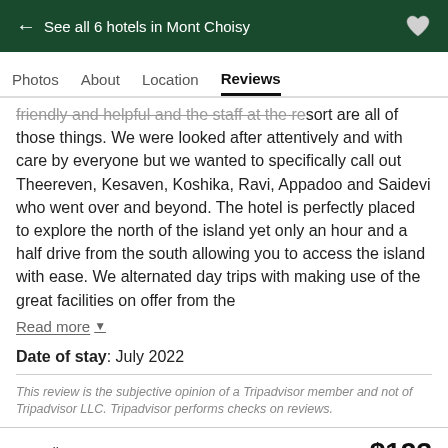← See all 6 hotels in Mont Choisy
Photos   About   Location   Reviews
friendly and helpful and the staff at the resort are all of those things. We were looked after attentively and with care by everyone but we wanted to specifically call out Theereven, Kesaven, Koshika, Ravi, Appadoo and Saidevi who went over and beyond. The hotel is perfectly placed to explore the north of the island yet only an hour and a half drive from the south allowing you to access the island with ease. We alternated day trips with making use of the great facilities on offer from the
Read more ▾
Date of stay: July 2022
This review is the subjective opinion of a Tripadvisor member and not of Tripadvisor LLC. Tripadvisor performs checks on reviews.
Expedia.com   $123
View deal